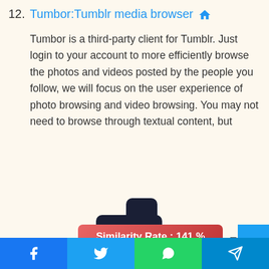12. Tumbor:Tumblr media browser
Tumbor is a third-party client for Tumblr. Just login to your account to more efficiently browse the photos and videos posted by the people you follow, we will focus on the user experience of photo browsing and video browsing. You may not need to browse through textual content, but
[Figure (logo): Tumblr logo: dark navy stylized letter 't' with a dot, resembling the Tumblr brand mark]
Similarity Rate : 141 % –
Facebook share | Twitter share | WhatsApp share | Telegram share